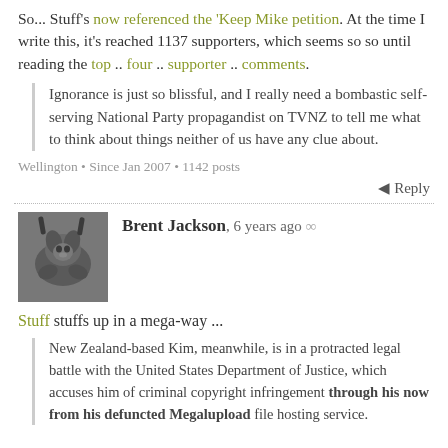So... Stuff's now referenced the 'Keep Mike petition'. At the time I write this, it's reached 1137 supporters, which seems so so until reading the top .. four .. supporter .. comments.
Ignorance is just so blissful, and I really need a bombastic self-serving National Party propagandist on TVNZ to tell me what to think about things neither of us have any clue about.
Wellington • Since Jan 2007 • 1142 posts
Reply
[Figure (photo): Avatar photo of Brent Jackson, showing a dark grayscale image of what appears to be a dog or animal]
Brent Jackson, 6 years ago ∞
Stuff stuffs up in a mega-way ...
New Zealand-based Kim, meanwhile, is in a protracted legal battle with the United States Department of Justice, which accuses him of criminal copyright infringement through his now from his defuncted Megalupload file hosting service.